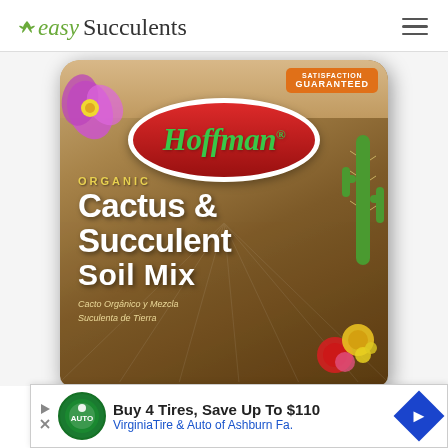easy Succulents
[Figure (photo): Hoffman Organic Cactus & Succulent Soil Mix product package bag. Brown bag with red oval Hoffman logo, purple cactus flowers decoration, green cactus on right side, colorful flowers at bottom right. Orange 'Satisfaction Guaranteed' badge in top right corner. Text reads ORGANIC CACTUS & SUCCULENT SOIL MIX and Spanish text 'Cacto Orgánico y Mezcla Suculenta de Tierra'.]
[Figure (screenshot): Advertisement banner at bottom: Virginia Tire & Auto ad. Text: 'Buy 4 Tires, Save Up To $110' and 'VirginiaTire & Auto of Ashburn Fa.' with auto service logo and blue arrow badge.]